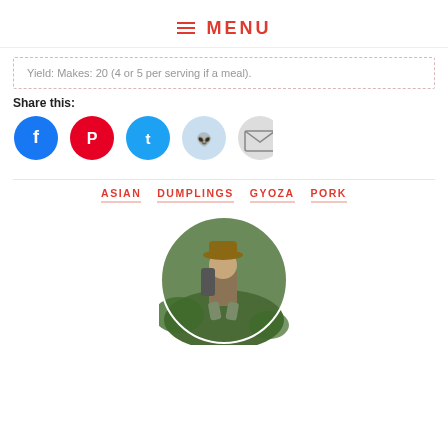≡ MENU
Yield: Makes: 20 (4 or 5 per serving if a meal).
Share this:
[Figure (infographic): Social share buttons: Facebook (blue circle), Pinterest (red circle), Twitter (cyan circle), Reddit (light blue circle), Email (gray circle)]
ASIAN    DUMPLINGS    GYOZA    PORK
[Figure (photo): Circular profile photo of a man wearing a hat and backpack, crouching outdoors among green foliage]